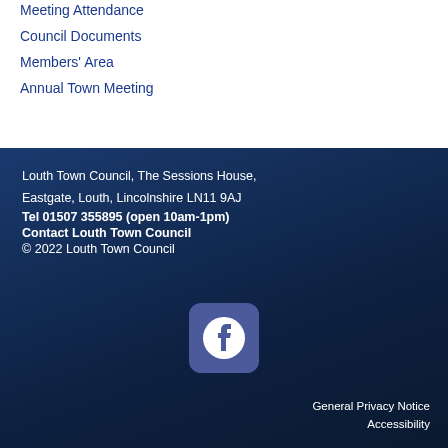Meeting Attendance
Council Documents
Members' Area
Annual Town Meeting
Louth Town Council, The Sessions House, Eastgate, Louth, Lincolnshire LN11 9AJ
Tel 01507 355895 (open 10am-1pm)
Contact Louth Town Council
© 2022 Louth Town Council
[Figure (logo): Facebook logo icon in white on a rounded blue-purple square background]
General Privacy Notice
Accessibility